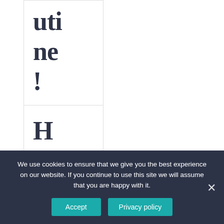utine!
How HR Techno
We use cookies to ensure that we give you the best experience on our website. If you continue to use this site we will assume that you are happy with it.
Accept
Privacy policy